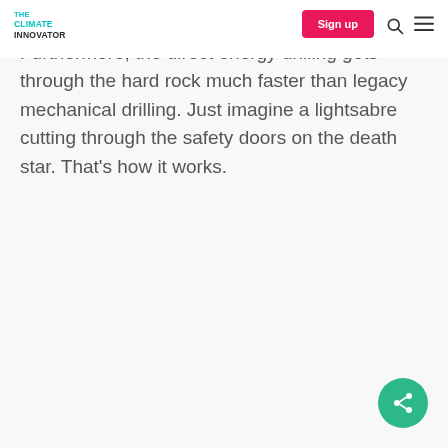THE CLIMATE INNOVATOR
completely removed from the ultra-deep drilling. Furthermore, the direct energy drilling gets through the hard rock much faster than legacy mechanical drilling. Just imagine a lightsabre cutting through the safety doors on the death star. That’s how it works.